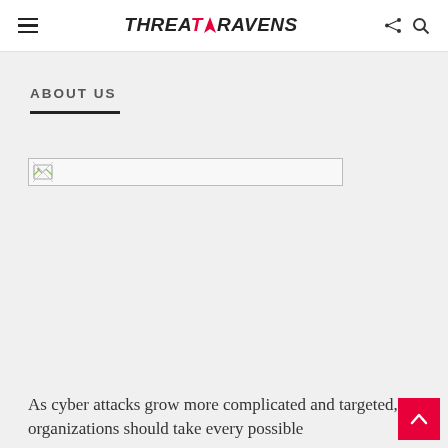THREATRAVENS
ABOUT US
[Figure (photo): Broken image placeholder — a wide banner image that failed to load]
As cyber attacks grow more complicated and targeted, organizations should take every possible